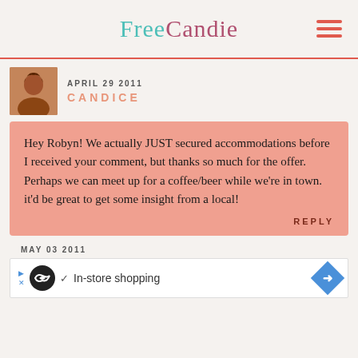FreeCandie
APRIL 29 2011
CANDICE
Hey Robyn! We actually JUST secured accommodations before I received your comment, but thanks so much for the offer. Perhaps we can meet up for a coffee/beer while we're in town. it'd be great to get some insight from a local!
REPLY
MAY 03 2011
[Figure (screenshot): Advertisement bar showing circular logo with infinity symbol, checkmark, 'In-store shopping' text, and a blue diamond navigation arrow icon]